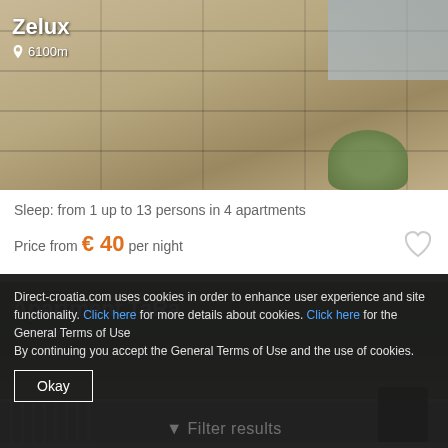[Figure (photo): Apartment building exterior photo with beige/tan facade, multiple balconies, air conditioning units, partially visible trees and sky]
Zelux
6100m
Sleep: from 1 up to 13 persons in 4 apartments
Price from € 40 per night
[Figure (photo): Aerial/elevated view of coastal town with marina, greenery, rooftops, and white railing in foreground]
Apartment TaRa
6160m
Direct-croatia.com uses cookies in order to enhance user experience and site functionality. Click here for more details about cookies. Click here for the General Terms of Use
By continuing you accept the General Terms of Use and the use of cookies.
Okay